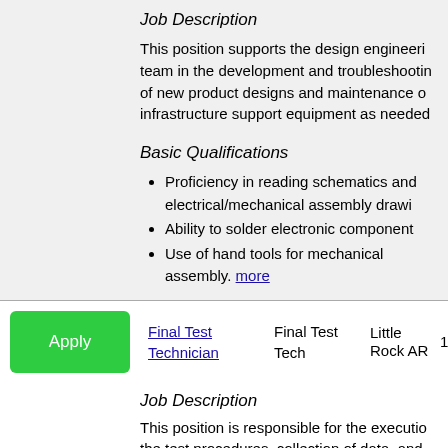Job Description
This position supports the design engineering team in the development and troubleshooting of new product designs and maintenance of infrastructure support equipment as needed.
Basic Qualifications
Proficiency in reading schematics and electrical/mechanical assembly drawings
Ability to solder electronic components
Use of hand tools for mechanical assembly. more
Apply   Final Test Technician   Final Test Tech   Little Rock AR   11/16/2
Job Description
This position is responsible for the execution of the test procedures, collection of data, and